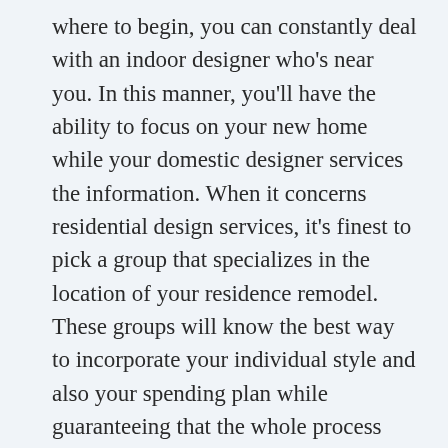where to begin, you can constantly deal with an indoor designer who's near you. In this manner, you'll have the ability to focus on your new home while your domestic designer services the information. When it concerns residential design services, it's finest to pick a group that specializes in the location of your residence remodel. These groups will know the best way to incorporate your individual style and also your spending plan while guaranteeing that the whole process remains within your budget plan. You'll have a much more cohesive house design if you collaborate with a group of designers and service providers who share a common passion for their work. If you're a far away customer, the group will certainly be able to coordinate with you and also your house remodeling project.